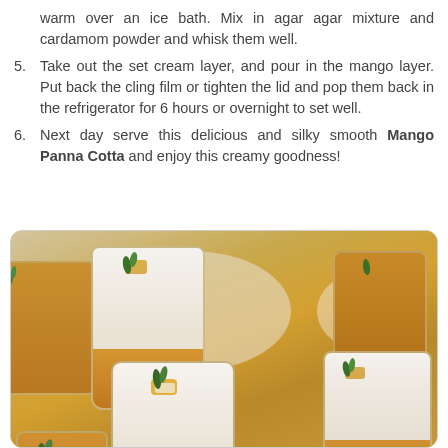warm over an ice bath. Mix in agar agar mixture and cardamom powder and whisk them well.
5. Take out the set cream layer, and pour in the mango layer. Put back the cling film or tighten the lid and pop them back in the refrigerator for 6 hours or overnight to set well.
6. Next day serve this delicious and silky smooth Mango Panna Cotta and enjoy this creamy goodness!
[Figure (photo): Multiple glass jars containing Mango Panna Cotta with white cream layer on top and golden mango layer below, garnished with mint leaves, arranged on a surface.]